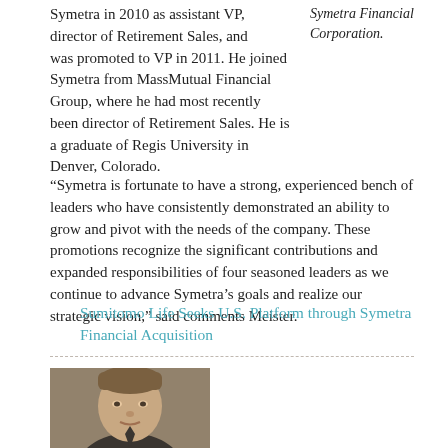Symetra in 2010 as assistant VP, director of Retirement Sales, and was promoted to VP in 2011. He joined Symetra from MassMutual Financial Group, where he had most recently been director of Retirement Sales. He is a graduate of Regis University in Denver, Colorado.
Symetra Financial Corporation.
“Symetra is fortunate to have a strong, experienced bench of leaders who have consistently demonstrated an ability to grow and pivot with the needs of the company. These promotions recognize the significant contributions and expanded responsibilities of four seasoned leaders as we continue to advance Symetra’s goals and realize our strategic vision,” said comments Meister.
Sumitomo Life Seeks U.S. Platform through Symetra Financial Acquisition
[Figure (photo): Headshot photo of a man with brown hair wearing a suit, facing forward]